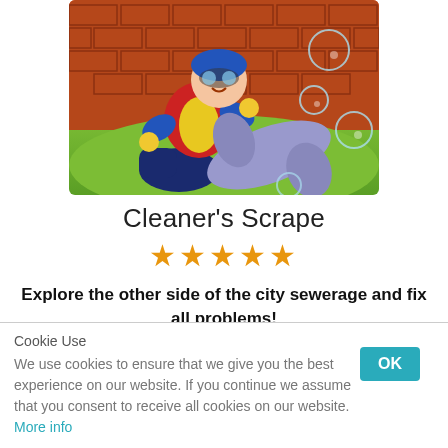[Figure (illustration): Cartoon illustration of a plumber or cleaner worker kneeling and holding a large pipe or hose, with bubbles floating around, against a brick wall background with green ground.]
Cleaner's Scrape
[Figure (infographic): Five orange/yellow star rating icons displayed in a row.]
Explore the other side of the city sewerage and fix all problems!
[Figure (other): Red rectangular button (partially visible at bottom of main content area).]
Cookie Use
We use cookies to ensure that we give you the best experience on our website. If you continue we assume that you consent to receive all cookies on our website. More info